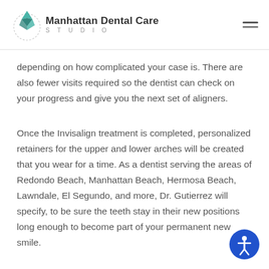Manhattan Dental Care STUDIO
depending on how complicated your case is. There are also fewer visits required so the dentist can check on your progress and give you the next set of aligners.
Once the Invisalign treatment is completed, personalized retainers for the upper and lower arches will be created that you wear for a time. As a dentist serving the areas of Redondo Beach, Manhattan Beach, Hermosa Beach, Lawndale, El Segundo, and more, Dr. Gutierrez will specify, to be sure the teeth stay in their new positions long enough to become part of your permanent new smile.
[Figure (logo): Accessibility icon button (blue circle with person symbol)]